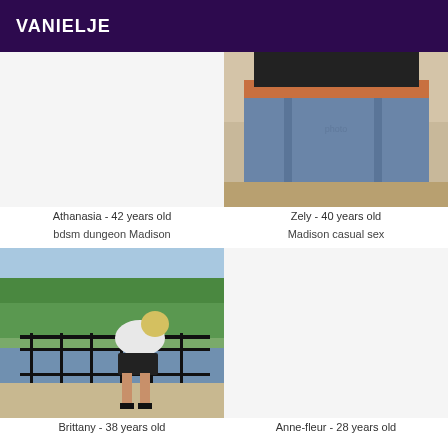VANIELJE
[Figure (photo): Empty/white photo placeholder for Athanasia]
[Figure (photo): Photo of person in jeans from behind]
Athanasia - 42 years old
Zely - 40 years old
bdsm dungeon Madison
Madison casual sex
[Figure (photo): Person in white shirt and black skirt leaning over a railing outdoors]
[Figure (photo): Empty/white photo placeholder for Anne-fleur]
Brittany - 38 years old
Anne-fleur - 28 years old